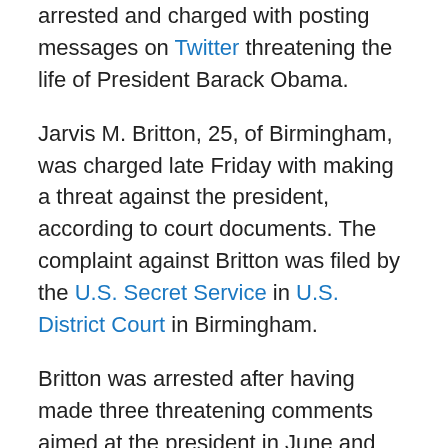arrested and charged with posting messages on Twitter threatening the life of President Barack Obama.
Jarvis M. Britton, 25, of Birmingham, was charged late Friday with making a threat against the president, according to court documents. The complaint against Britton was filed by the U.S. Secret Service in U.S. District Court in Birmingham.
Britton was arrested after having made three threatening comments aimed at the president in June and then again on Thursday, according to an affidavit filed by Phillip G. Holley, special agent with the U.S. Secret Service in Birmingham.
Holley stated he had received a report from an anonymous citizen on June 30 that Britton was using his computer to make threats against the president.